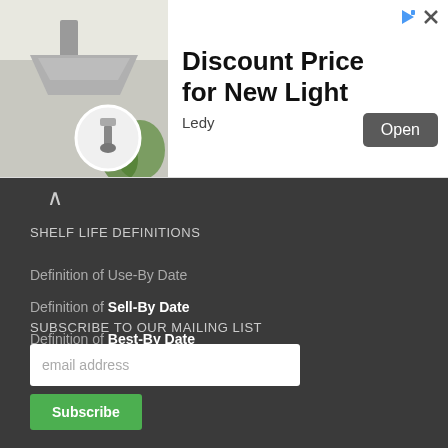[Figure (photo): Advertisement banner showing a lighting fixture/LED lamp product with circular detail inset. Text reads 'Discount Price for New Light', brand 'Ledy', with an Open button.]
SHELF LIFE DEFINITIONS
Definition of Use-By Date
Definition of Sell-By Date
Definition of Best-By Date
Definition of Shelf Life
SUBSCRIBE TO OUR MAILING LIST
email address
Subscribe